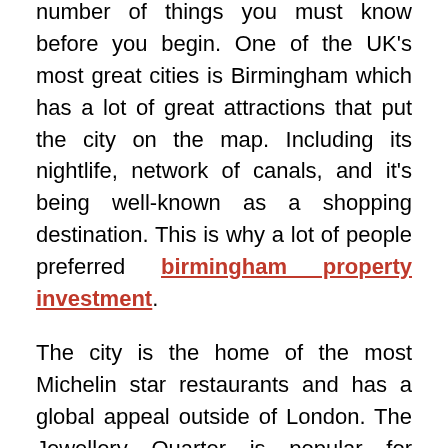number of things you must know before you begin. One of the UK's most great cities is Birmingham which has a lot of great attractions that put the city on the map. Including its nightlife, network of canals, and it's being well-known as a shopping destination. This is why a lot of people preferred birmingham property investment.
The city is the home of the most Michelin star restaurants and has a global appeal outside of London. The Jewellery Quarter is popular for producing almost 40% of the UK's jewelry, the highest application in Europe. Birmingham is known as the rapidly growing city center in the country. The population of Birmingham increased by 163% between 2002 and 2015.
What is a Property Investment?